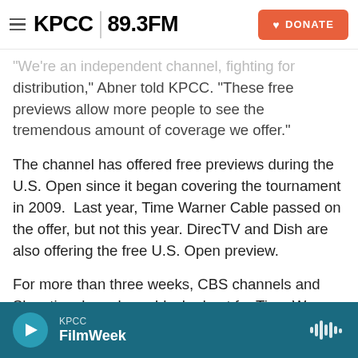KPCC 89.3FM | DONATE
"We're an independent channel, fighting for distribution," Abner told KPCC. "These free previews allow more people to see the tremendous amount of coverage we offer."
The channel has offered free previews during the U.S. Open since it began covering the tournament in 2009.  Last year, Time Warner Cable passed on the offer, but not this year. DirecTV and Dish are also offering the free U.S. Open preview.
For more than three weeks, CBS channels and Showtime have been blacked out for Time Warner Cable customers in Los Angeles, Dallas and New
KPCC FilmWeek